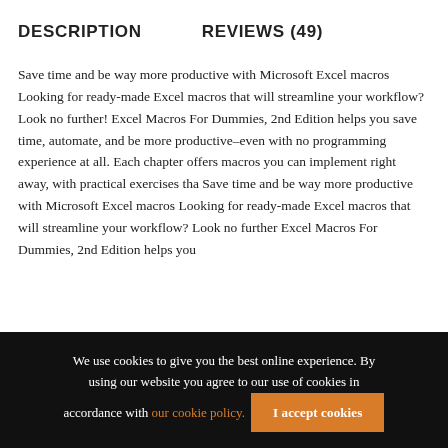DESCRIPTION        REVIEWS (49)
Save time and be way more productive with Microsoft Excel macros Looking for ready-made Excel macros that will streamline your workflow? Look no further! Excel Macros For Dummies, 2nd Edition helps you save time, automate, and be more productive–even with no programming experience at all. Each chapter offers macros you can implement right away, with practical exercises tha Save time and be way more productive with Microsoft Excel macros Looking for ready-made Excel macros that will streamline your workflow? Look no further Excel Macros For Dummies, 2nd Edition helps you
We use cookies to give you the best online experience. By using our website you agree to our use of cookies in accordance with our cookie policy.  I accept cookies